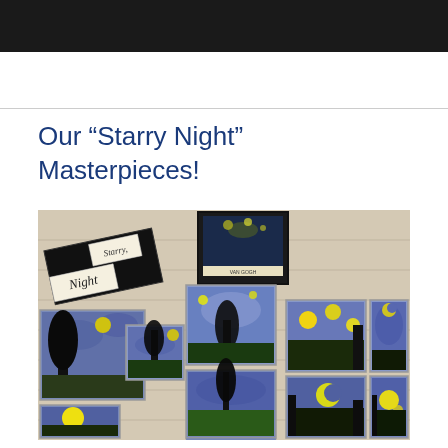Our “Starry Night” Masterpieces!
[Figure (photo): Photograph of student artwork displayed on a classroom wall. Multiple student paintings inspired by Van Gogh's Starry Night are pinned to a cinder block wall. A framed reproduction of Van Gogh's Starry Night is visible at the top center. A title card reading 'Starry Night' is on the upper left. Student artworks show blue swirling skies, yellow stars, and dark silhouetted trees and landscapes in the style of Van Gogh.]